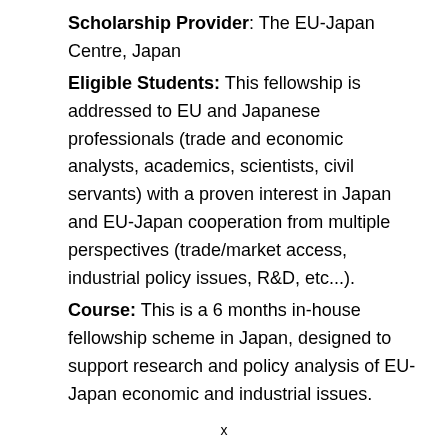Scholarship Provider: The EU-Japan Centre, Japan
Eligible Students: This fellowship is addressed to EU and Japanese professionals (trade and economic analysts, academics, scientists, civil servants) with a proven interest in Japan and EU-Japan cooperation from multiple perspectives (trade/market access, industrial policy issues, R&D, etc...).
Course: This is a 6 months in-house fellowship scheme in Japan, designed to support research and policy analysis of EU-Japan economic and industrial issues.
x